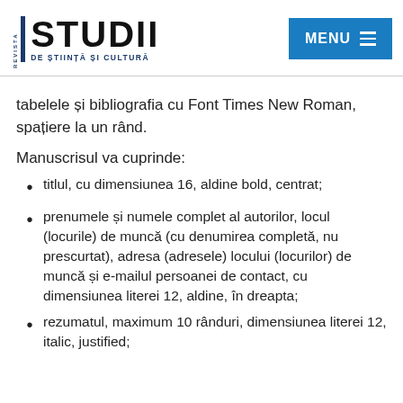[Figure (logo): Revista STUDII DE ȘTIINȚĂ ȘI CULTURĂ logo with blue vertical bar and text]
[Figure (screenshot): Blue MENU button with hamburger icon]
tabelele și bibliografia cu Font Times New Roman, spațiere la un rând.
Manuscrisul va cuprinde:
titlul, cu dimensiunea 16, aldine bold, centrat;
prenumele și numele complet al autorilor, locul (locurile) de muncă (cu denumirea completă, nu prescurtat), adresa (adresele) locului (locurilor) de muncă și e-mailul persoanei de contact, cu dimensiunea literei 12, aldine, în dreapta;
rezumatul, maximum 10 rânduri, dimensiunea literei 12, italic, justified;